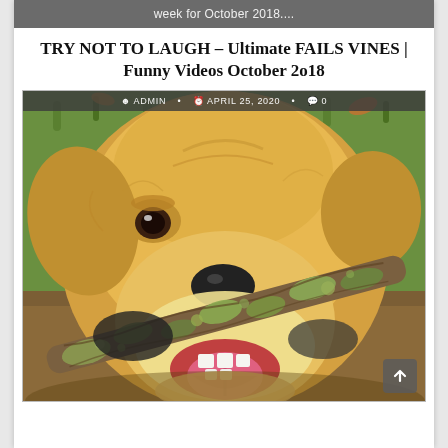week for October 2018....
TRY NOT TO LAUGH – Ultimate FAILS VINES | Funny Videos October 2018
ADMIN • APRIL 25, 2020 • 0
[Figure (photo): A golden retriever dog biting/carrying a large lichen-covered stick or branch, outdoors on grass, photographed close-up showing the dog's face, teeth, and tongue.]